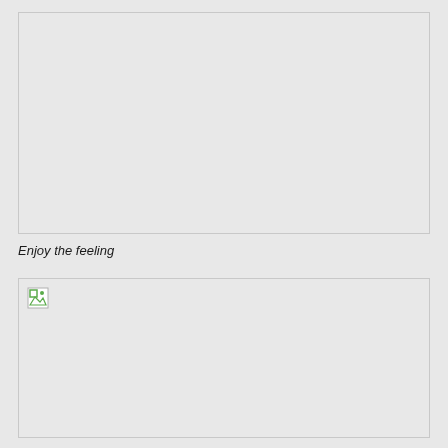[Figure (photo): Top image placeholder — blank/missing image box]
Enjoy the feeling
[Figure (photo): Bottom image placeholder — blank/missing image box with broken image icon in top-left corner]